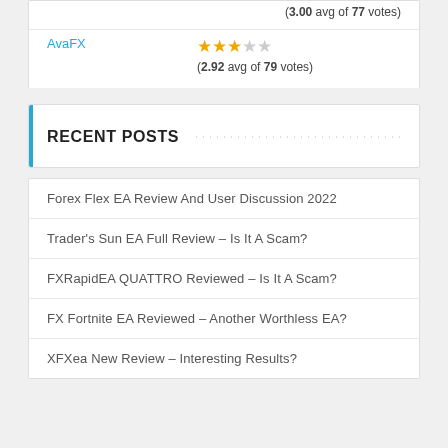|  | (3.00 avg of 77 votes) |
| AvaFX | ★★★☆☆ (2.92 avg of 79 votes) |
RECENT POSTS
Forex Flex EA Review And User Discussion 2022
Trader's Sun EA Full Review – Is It A Scam?
FXRapidEA QUATTRO Reviewed – Is It A Scam?
FX Fortnite EA Reviewed – Another Worthless EA?
XFXea New Review – Interesting Results?